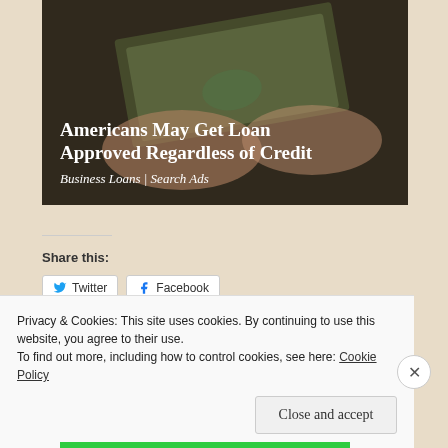[Figure (photo): Two people exchanging US dollar bills (hands visible), dark background. Overlay text reads 'Americans May Get Loan Approved Regardless of Credit' and 'Business Loans | Search Ads'.]
Share this:
Twitter
Facebook
Privacy & Cookies: This site uses cookies. By continuing to use this website, you agree to their use.
To find out more, including how to control cookies, see here: Cookie Policy
Close and accept